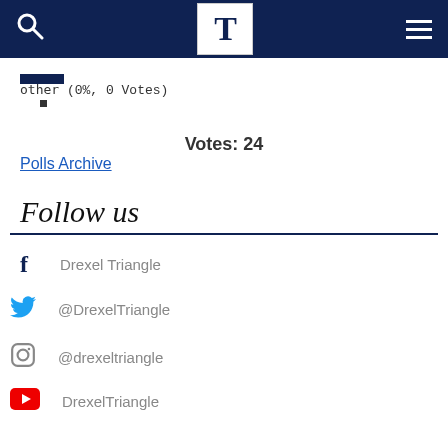Drexel Triangle navigation bar with search, logo, and menu
other (0%, 0 Votes)
Votes: 24
Polls Archive
Follow us
Drexel Triangle (Facebook)
@DrexelTriangle (Twitter)
@drexeltriangle (Instagram)
DrexelTriangle (YouTube)